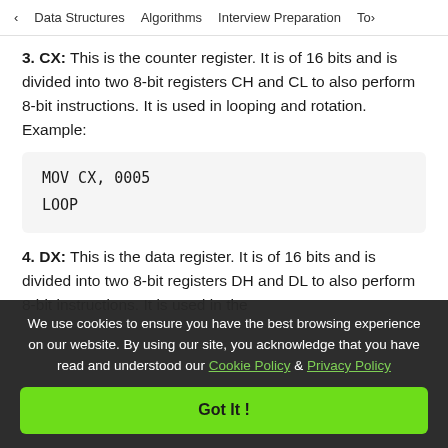< Data Structures   Algorithms   Interview Preparation   To>
3. CX: This is the counter register. It is of 16 bits and is divided into two 8-bit registers CH and CL to also perform 8-bit instructions. It is used in looping and rotation. Example:
MOV CX, 0005
LOOP
4. DX: This is the data register. It is of 16 bits and is divided into two 8-bit registers DH and DL to also perform 8-bit instructions. It is used in the
We use cookies to ensure you have the best browsing experience on our website. By using our site, you acknowledge that you have read and understood our Cookie Policy & Privacy Policy
Got It !